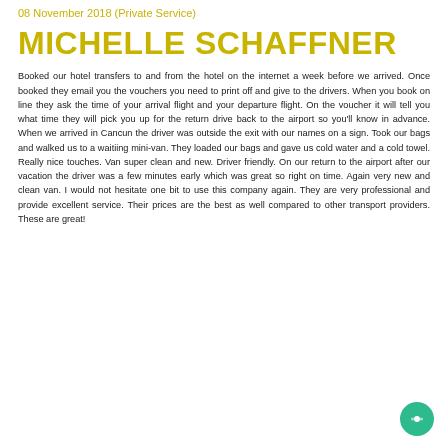08 November 2018 (Private Service)
MICHELLE SCHAFFNER
Booked our hotel transfers to and from the hotel on the internet a week before we arrived. Once booked they email you the vouchers you need to print off and give to the drivers. When you book on line they ask the time of your arrival flight and your departure flight. On the voucher it will tell you what time they will pick you up for the return drive back to the airport so you'll know in advance. When we arrived in Cancun the driver was outside the exit with our names on a sign. Took our bags and walked us to a waitiing mini-van. They loaded our bags and gave us cold water and a cold towel. Really nice touches. Van super clean and new. Driver friendly. On our return to the airport after our vacation the driver was a few minutes early which was great so right on time. Again very new and clean van. I would not hesitate one bit to use this company again. They are very professional and provide excellent service. Their prices are the best as well compared to other transport providers. These are great!